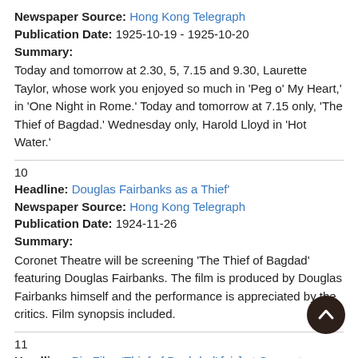Newspaper Source: Hong Kong Telegraph
Publication Date: 1925-10-19 - 1925-10-20
Summary:
Today and tomorrow at 2.30, 5, 7.15 and 9.30, Laurette Taylor, whose work you enjoyed so much in 'Peg o' My Heart,' in 'One Night in Rome.' Today and tomorrow at 7.15 only, 'The Thief of Bagdad.' Wednesday only, Harold Lloyd in 'Hot Water.'
10
Headline: Douglas Fairbanks as a Thief'
Newspaper Source: Hong Kong Telegraph
Publication Date: 1924-11-26
Summary:
Coronet Theatre will be screening 'The Thief of Bagdad' featuring Douglas Fairbanks. The film is produced by Douglas Fairbanks himself and the performance is appreciated by the critics. Film synopsis included.
11
Headline: Big Film: 'Thief of Baghdad' [sic] at Coronet
Newspaper Source: Hong Kong Telegraph